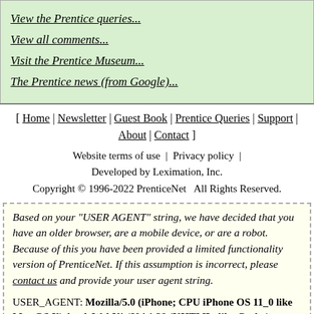View the Prentice queries...
View all comments...
Visit the Prentice Museum...
The Prentice news (from Google)...
[ Home | Newsletter | Guest Book | Prentice Queries | Support | About | Contact ]
Website terms of use  |  Privacy policy  |  Developed by Leximation, Inc.
Copyright © 1996-2022 PrenticeNet  All Rights Reserved.
Based on your "USER AGENT" string, we have decided that you have an older browser, are a mobile device, or are a robot. Because of this you have been provided a limited functionality version of PrenticeNet. If this assumption is incorrect, please contact us and provide your user agent string.

USER_AGENT: Mozilla/5.0 (iPhone; CPU iPhone OS 11_0 like Mac OS X) AppleWebKit/604.1.38 (KHTML, like Gecko) Version/11.0 Mobile/15A372 Safari/604.1